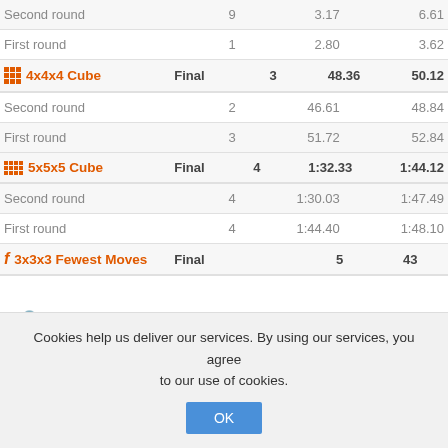| Event | Round | # | Best | Average |
| --- | --- | --- | --- | --- |
|  | Second round | 9 | 3.17 | 6.61 |
|  | First round | 1 | 2.80 | 3.62 |
| 4x4x4 Cube | Final | 3 | 48.36 | 50.12 |
|  | Second round | 2 | 46.61 | 48.84 |
|  | First round | 3 | 51.72 | 52.84 |
| 5x5x5 Cube | Final | 4 | 1:32.33 | 1:44.12 |
|  | Second round | 4 | 1:30.03 | 1:47.49 |
|  | First round | 4 | 1:44.40 | 1:48.10 |
| 3x3x3 Fewest Moves | Final | 5 | 43 |  |
Andrea Santambrogio - Italy WCA profile
| Event | Round | # | Best | Average |
| --- | --- | --- | --- | --- |
Cookies help us deliver our services. By using our services, you agree to our use of cookies.
OK